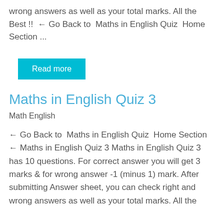wrong answers as well as your total marks. All the Best !!  ← Go Back to  Maths in English Quiz  Home Section ...
Read more
Maths in English Quiz 3
Math English
← Go Back to  Maths in English Quiz  Home Section ← Maths in English Quiz 3 Maths in English Quiz 3 has 10 questions. For correct answer you will get 3 marks & for wrong answer -1 (minus 1) mark. After submitting Answer sheet, you can check right and wrong answers as well as your total marks. All the